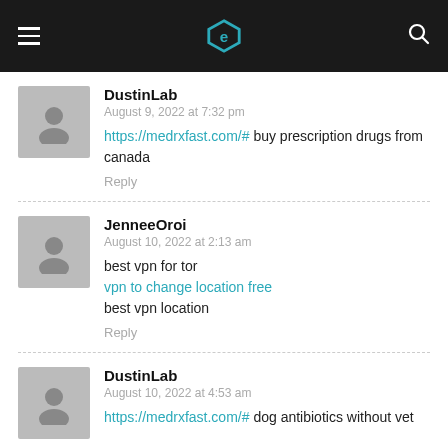[navigation header with logo]
DustinLab
August 9, 2022 at 7:32 pm
https://medrxfast.com/# buy prescription drugs from canada
Reply
JenneeOroi
August 10, 2022 at 2:13 am
best vpn for tor
vpn to change location free
best vpn location
Reply
DustinLab
August 10, 2022 at 4:53 am
https://medrxfast.com/# dog antibiotics without vet